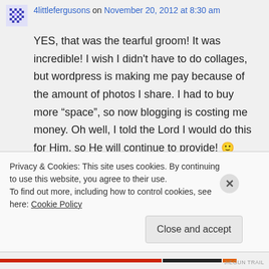4littlefergusons on November 20, 2012 at 8:30 am
YES, that was the tearful groom! It was incredible! I wish I didn't have to do collages, but wordpress is making me pay because of the amount of photos I share. I had to buy more “space”, so now blogging is costing me money. Oh well, I told the Lord I would do this for Him, so He will continue to provide! 🙂
Privacy & Cookies: This site uses cookies. By continuing to use this website, you agree to their use.
To find out more, including how to control cookies, see here: Cookie Policy
Close and accept